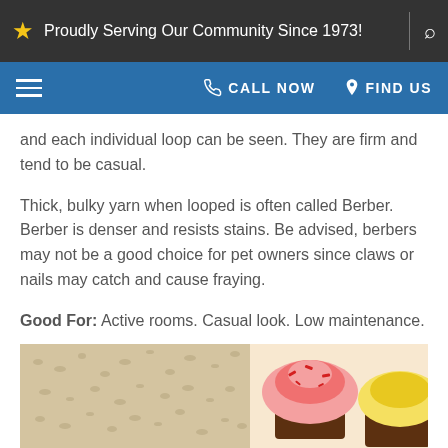Proudly Serving Our Community Since 1973!
CALL NOW  FIND US
and each individual loop can be seen. They are firm and tend to be casual.
Thick, bulky yarn when looped is often called Berber. Berber is denser and resists stains. Be advised, berbers may not be a good choice for pet owners since claws or nails may catch and cause fraying.
Good For: Active rooms. Casual look. Low maintenance.
[Figure (photo): Photo of carpet texture on the left and cupcakes with pink and yellow frosting on the right]